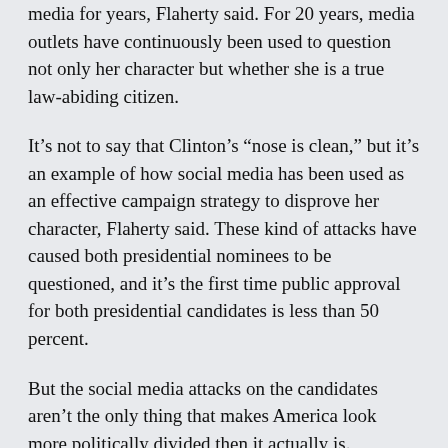media for years, Flaherty said. For 20 years, media outlets have continuously been used to question not only her character but whether she is a true law-abiding citizen.
It’s not to say that Clinton’s “nose is clean,” but it’s an example of how social media has been used as an effective campaign strategy to disprove her character, Flaherty said. These kind of attacks have caused both presidential nominees to be questioned, and it’s the first time public approval for both presidential candidates is less than 50 percent.
But the social media attacks on the candidates aren’t the only thing that makes America look more politically divided then it actually is.
If someone were to examine the polls, they would find that Americans are not as polarized as social